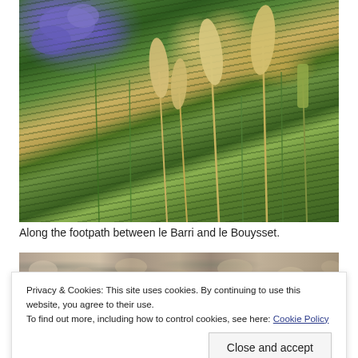[Figure (photo): A nature photograph showing tall dried grass seed heads with feathery plumes alongside green plants and purple wildflowers along a footpath between le Barri and le Bouysset.]
Along the footpath between le Barri and le Bouysset.
[Figure (photo): Partial view of a rocky or gravelly path surface.]
Privacy & Cookies: This site uses cookies. By continuing to use this website, you agree to their use.
To find out more, including how to control cookies, see here: Cookie Policy
[Figure (photo): Partial view of blue/purple flowers at the bottom of the page.]